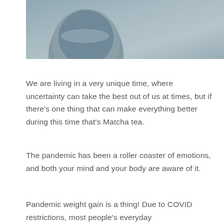[Figure (photo): Partial photo of a matcha tea cup or bowl on a textured light gray surface, viewed from above at an angle, showing a rounded ceramic vessel.]
We are living in a very unique time, where uncertainty can take the best out of us at times, but if there's one thing that can make everything better during this time that's Matcha tea.
The pandemic has been a roller coaster of emotions, and both your mind and your body are aware of it.
Pandemic weight gain is a thing! Due to COVID restrictions, most people's everyday